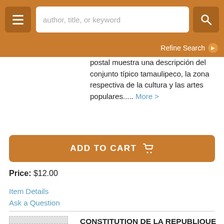[Figure (screenshot): Website header with hamburger menu button, search bar with placeholder text 'author, title, or keyword', and search button]
Refine Search ▶
postal muestra una descripción del conjunto típico tamaulipeco, la zona respectiva de la cultura y las artes populares..... More >
ADD TO CART 🛒
Price: $12.00
Item Details
Ask a Question
CONSTITUTION DE LA REPUBLIQUE DE CUBA.